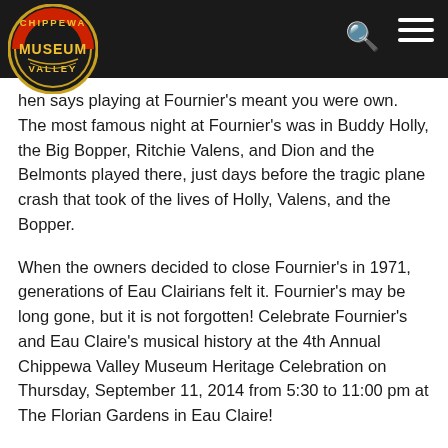[Figure (logo): Chippewa Valley Museum circular logo with gold text on dark background]
hen says playing at Fournier's meant you were own. The most famous night at Fournier's was in Buddy Holly, the Big Bopper, Ritchie Valens, and Dion and the Belmonts played there, just days before the tragic plane crash that took of the lives of Holly, Valens, and the Bopper.
When the owners decided to close Fournier's in 1971, generations of Eau Clairians felt it. Fournier's may be long gone, but it is not forgotten! Celebrate Fournier's and Eau Claire's musical history at the 4th Annual Chippewa Valley Museum Heritage Celebration on Thursday, September 11, 2014 from 5:30 to 11:00 pm at The Florian Gardens in Eau Claire!
"Fournier's for a Night" guests can feast on a '60s supper club meal featuring Chicken Kiev, baked potato with sour cream and chives, green bean almondine, lettuce pear salad with cottage cheese, dinner rolls, and grasshopper mint pie for dessert.